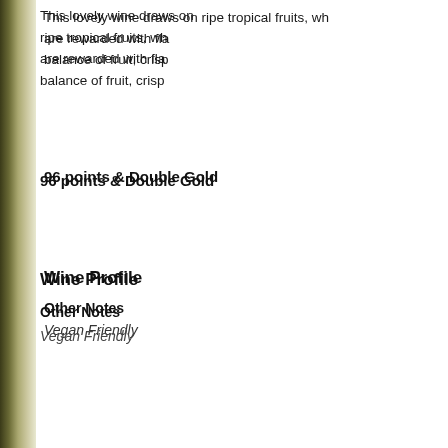This lovely wine draws on ripe tropical fruits, wh... are rewarded with fla... balance of fruit, crisp...
96 points & Double Gold
Wine Profile
Other Notes
Vegan Friendly
Product Reviews
Ravn Mille...
I'm so happy...